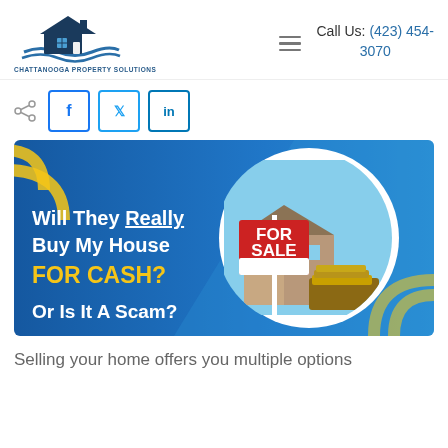Chattanooga Property Solutions | Call Us: (423) 454-3070
[Figure (logo): Chattanooga Property Solutions logo with house and waves icon]
[Figure (illustration): Social share icon and social media buttons for Facebook, Twitter, LinkedIn]
[Figure (infographic): Banner image with blue gradient background and circular photo of FOR SALE sign with cash. Text: Will They Really Buy My House FOR CASH? Or Is It A Scam?]
Selling your home offers you multiple options